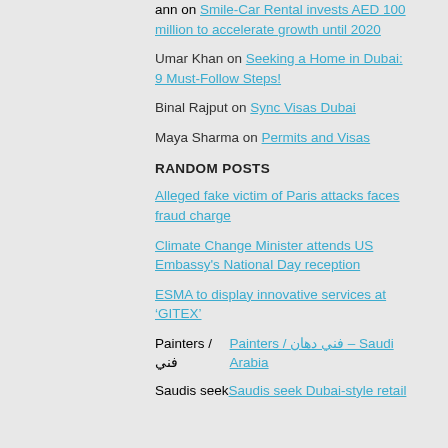ann on Smile-Car Rental invests AED 100 million to accelerate growth until 2020
Umar Khan on Seeking a Home in Dubai: 9 Must-Follow Steps!
Binal Rajput on Sync Visas Dubai
Maya Sharma on Permits and Visas
RANDOM POSTS
Alleged fake victim of Paris attacks faces fraud charge
Climate Change Minister attends US Embassy's National Day reception
ESMA to display innovative services at ‘GITEX’
Painters / فني دهان – Saudi Arabia
Saudis seek Dubai-style retail